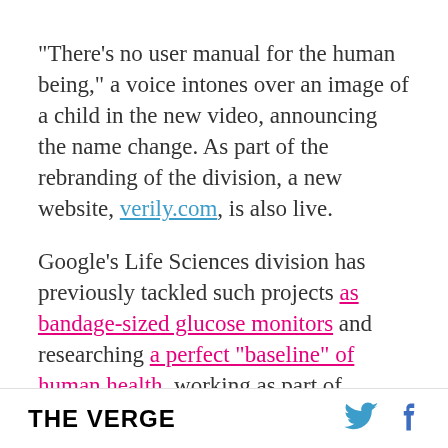"There's no user manual for the human being," a voice intones over an image of a child in the new video, announcing the name change. As part of the rebranding of the division, a new website, verily.com, is also live.
Google's Life Sciences division has previously tackled such projects as bandage-sized glucose monitors and researching a perfect "baseline" of human health, working as part of Google[x]. Presumably, Verily will now continue those projects under the recently organized Alphabet structure
THE VERGE